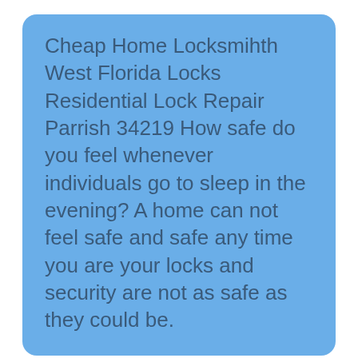Cheap Home Locksmihth West Florida Locks Residential Lock Repair Parrish 34219 How safe do you feel whenever individuals go to sleep in the evening? A home can not feel safe and safe any time you are your locks and security are not as safe as they could be.
Economical Rates
Looking for a Cheap Locksmith in Parrish, we strive to remain competitive when it concerns expenses. We are one of the most budget-friendly locksmith professionals in Brandon that is certified to work on your locks. There might be a more affordable locksmith professional out there. However why? Due